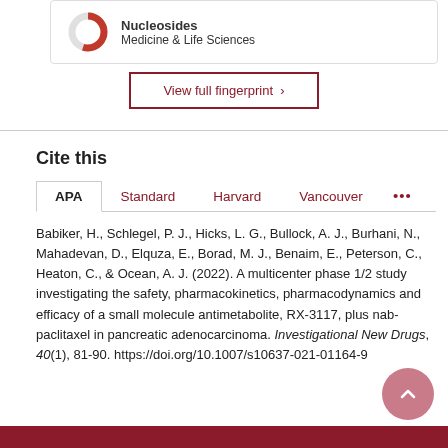[Figure (donut-chart): Partial donut chart icon representing Nucleosides topic]
Nucleosides
Medicine & Life Sciences
View full fingerprint ›
Cite this
APA   Standard   Harvard   Vancouver   ...
Babiker, H., Schlegel, P. J., Hicks, L. G., Bullock, A. J., Burhani, N., Mahadevan, D., Elquza, E., Borad, M. J., Benaim, E., Peterson, C., Heaton, C., & Ocean, A. J. (2022). A multicenter phase 1/2 study investigating the safety, pharmacokinetics, pharmacodynamics and efficacy of a small molecule antimetabolite, RX-3117, plus nab-paclitaxel in pancreatic adenocarcinoma. Investigational New Drugs, 40(1), 81-90. https://doi.org/10.1007/s10637-021-01164-9